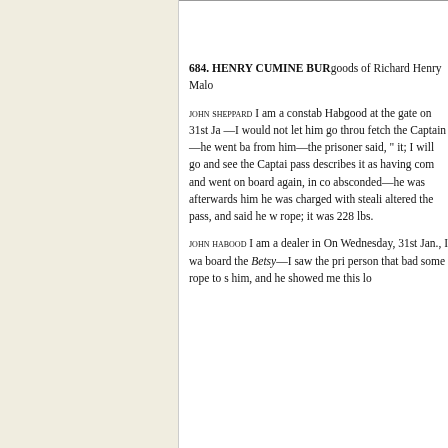684. HENRY CUMINE BURG... goods of Richard Henry Malon...
JOHN SHEPPARD I am a constab... Habgood at the gate on 31st Ja... —I would not let him go throu... fetch the Captain—he went ba... from him—the prisoner said, "... it; I will go and see the Captai... pass describes it as having com... and went on board again, in co... absconded—he was afterwards... him he was charged with steali... altered the pass, and said he w... rope; it was 228 lbs.
JOHN HABOOD I am a dealer in... On Wednesday, 31st Jan., I wa... board the Betsy—I saw the pri... person that bad some rope to s... him, and he showed me this lo...